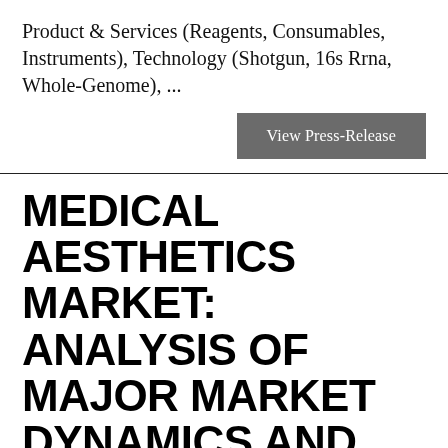Product & Services (Reagents, Consumables, Instruments), Technology (Shotgun, 16s Rrna, Whole-Genome), ...
[Figure (other): View Press-Release button (dark grey rectangular button with white text)]
MEDICAL AESTHETICS MARKET: ANALYSIS OF MAJOR MARKET DYNAMICS AND THEIR IMPACT
beyondspotsanddots  December 17, 2020  Health/Medical
Attractive Opportunities in Global Medical Aesthetics Market